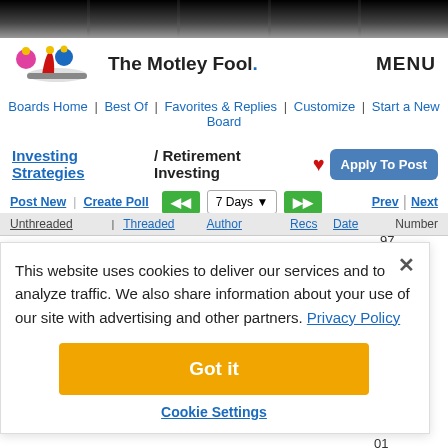The Motley Fool — MENU
Boards Home | Best Of | Favorites & Replies | Customize | Start a New Board
Investing Strategies / Retirement Investing
Post New | Create Poll  7 Days  Prev | Next
| Unthreaded | Threaded | Author | Recs | Date | Number |
| --- | --- | --- | --- | --- | --- |
This website uses cookies to deliver our services and to analyze traffic. We also share information about your use of our site with advertising and other partners. Privacy Policy
Got it
Cookie Settings